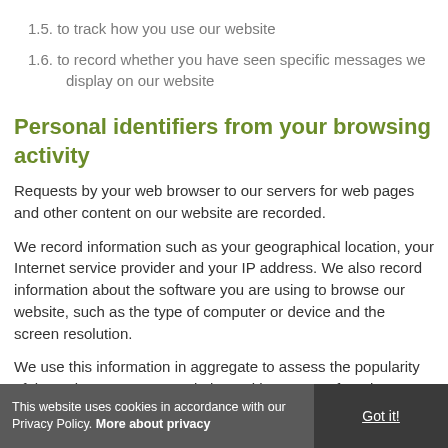1.5. to track how you use our website
1.6. to record whether you have seen specific messages we display on our website
Personal identifiers from your browsing activity
Requests by your web browser to our servers for web pages and other content on our website are recorded.
We record information such as your geographical location, your Internet service provider and your IP address. We also record information about the software you are using to browse our website, such as the type of computer or device and the screen resolution.
We use this information in aggregate to assess the popularity of the webpages on our website and how we perform in providing content to you.
This website uses cookies in accordance with our Privacy Policy. More about privacy